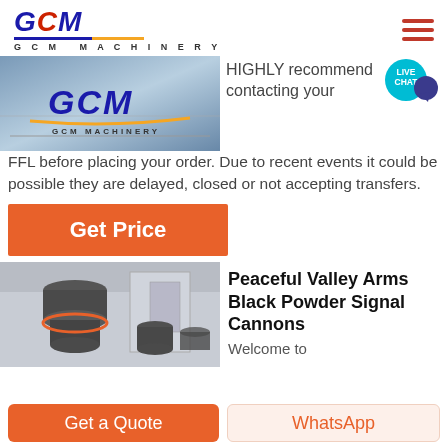[Figure (logo): GCM Machinery logo with blue italic text and orange underline]
[Figure (photo): GCM Machinery factory/equipment photo with logo overlay]
HIGHLY recommend contacting your FFL before placing your order. Due to recent events it could be possible they are delayed, closed or not accepting transfers.
[Figure (other): Live Chat badge - teal circle with white LIVE CHAT text and purple speech bubble]
Get Price
[Figure (photo): Industrial grinding/milling machine photo]
Peaceful Valley Arms Black Powder Signal Cannons
Welcome to
Get a Quote
WhatsApp